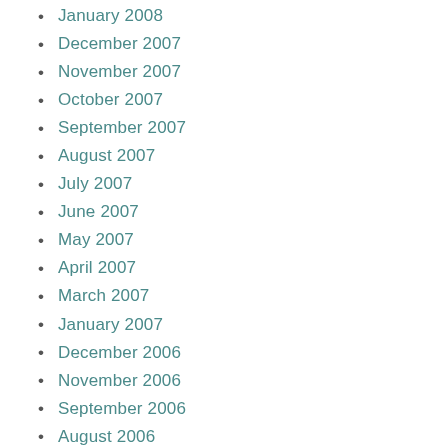January 2008
December 2007
November 2007
October 2007
September 2007
August 2007
July 2007
June 2007
May 2007
April 2007
March 2007
January 2007
December 2006
November 2006
September 2006
August 2006
July 2006
June 2006
April 2006
March 2006
February 2006